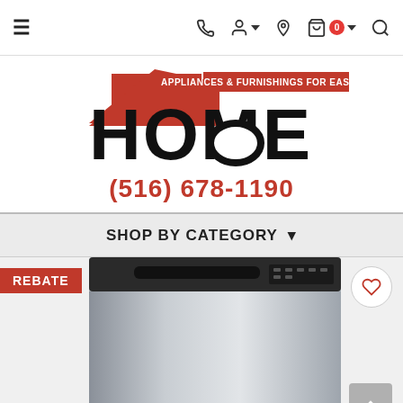Navigation bar with hamburger menu, phone, user, location, cart (0), search icons
[Figure (logo): HOME Appliances & Furnishings For Easy Living logo with red roof graphic]
(516) 678-1190
SHOP BY CATEGORY
[Figure (photo): Stainless steel under-counter dishwasher with REBATE badge and heart/wishlist button]